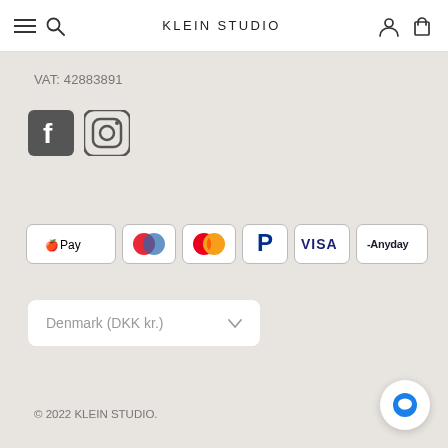KLEIN STUDIO
VAT: 42883891
[Figure (logo): Facebook and Instagram social media icons]
[Figure (logo): Payment method badges: Apple Pay, Maestro, Mastercard, PayPal, Visa, Anyday]
Denmark (DKK kr.)
© 2022 KLEIN STUDIO.